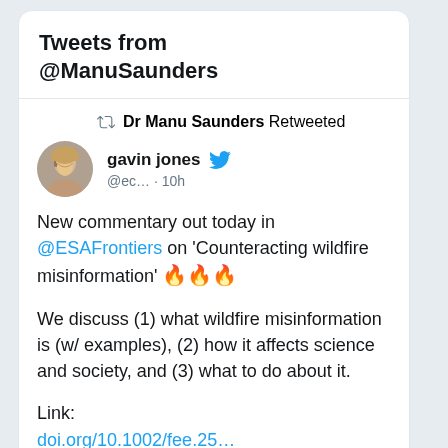Tweets from @ManuSaunders
Dr Manu Saunders Retweeted
gavin jones @ec... · 10h
New commentary out today in @ESAFrontiers on 'Counteracting wildfire misinformation' 🔥🔥🔥

We discuss (1) what wildfire misinformation is (w/ examples), (2) how it affects science and society, and (3) what to do about it.

Link:
doi.org/10.1002/fee.25...